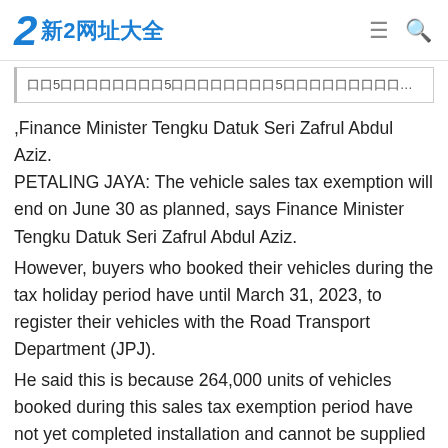2 新2网址大全
口口5口口口口口口口口5口口口口口口口口5口口口口口口口口口口口5口口口口口口口口口口口
,Finance Minister Tengku Datuk Seri Zafrul Abdul Aziz. PETALING JAYA: The vehicle sales tax exemption will end on June 30 as planned, says Finance Minister Tengku Datuk Seri Zafrul Abdul Aziz.
However, buyers who booked their vehicles during the tax holiday period have until March 31, 2023, to register their vehicles with the Road Transport Department (JPJ).
He said this is because 264,000 units of vehicles booked during this sales tax exemption period have not yet completed installation and cannot be supplied to the buyer, owing to a worldwide microchip shortage.
"The extension of this vehicle registration period is a mid-